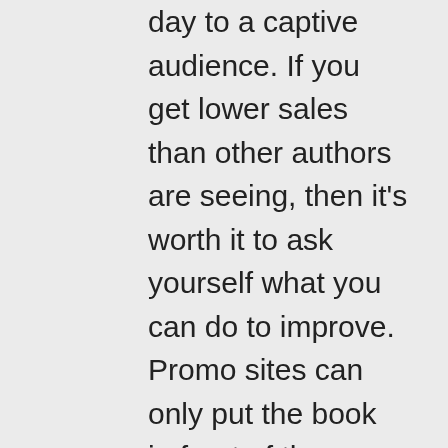day to a captive audience. If you get lower sales than other authors are seeing, then it's worth it to ask yourself what you can do to improve. Promo sites can only put the book in front of the reader.
I am new at this. 2014 was my first full year of indie authorship. The earning curve is horrendous. I seldom if ever promote a book on full price without mentioning read free with Kindle Unlimited. Once